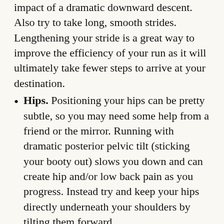impact of a dramatic downward descent. Also try to take long, smooth strides. Lengthening your stride is a great way to improve the efficiency of your run as it will ultimately take fewer steps to arrive at your destination.
Hips. Positioning your hips can be pretty subtle, so you may need some help from a friend or the mirror. Running with dramatic posterior pelvic tilt (sticking your booty out) slows you down and can create hip and/or low back pain as you progress. Instead try and keep your hips directly underneath your shoulders by tilting them forward.
Core. Another subtle point, one for which the mirror will be of no assistance. The importance of maintaining a strong core cannot be understated, although